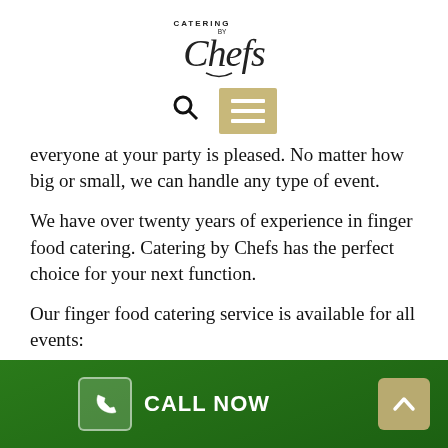[Figure (logo): Catering by Chefs logo — cursive script lettering]
[Figure (screenshot): Navigation bar with search icon and tan/gold hamburger menu button]
everyone at your party is pleased. No matter how big or small, we can handle any type of event.
We have over twenty years of experience in finger food catering. Catering by Chefs has the perfect choice for your next function.
Our finger food catering service is available for all events:
Birthday parties
CALL NOW